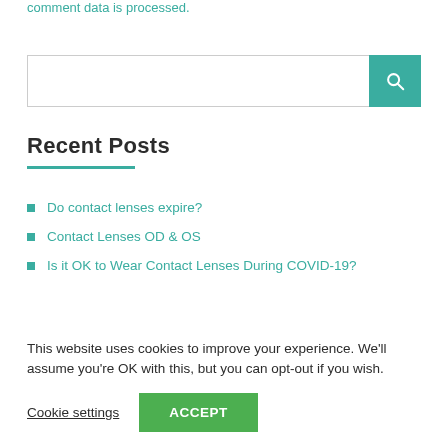comment data is processed.
[Figure (other): Search input box with teal search button containing a magnifying glass icon]
Recent Posts
Do contact lenses expire?
Contact Lenses OD & OS
Is it OK to Wear Contact Lenses During COVID-19?
This website uses cookies to improve your experience. We'll assume you're OK with this, but you can opt-out if you wish.
Cookie settings   ACCEPT